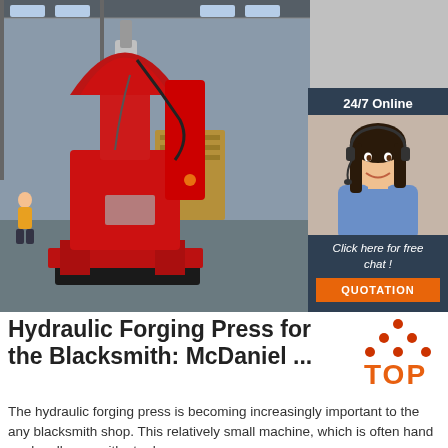[Figure (photo): Large red hydraulic forging press machine sitting in an industrial factory/warehouse setting]
[Figure (infographic): Sidebar widget with dark blue background showing '24/7 Online' header, customer service woman with headset, 'Click here for free chat!' text, and orange QUOTATION button]
Hydraulic Forging Press for the Blacksmith: McDaniel ...
[Figure (logo): Orange and dark red TOP logo with arrow/triangle design]
The hydraulic forging press is becoming increasingly important to the any blacksmith shop. This relatively small machine, which is often hand made, allows smiths to do